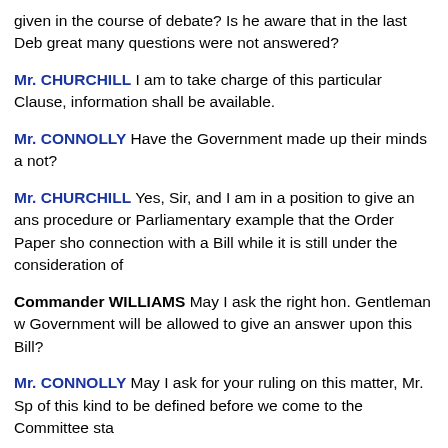given in the course of debate? Is he aware that in the last Deb great many questions were not answered?
Mr. CHURCHILL I am to take charge of this particular Clause, information shall be available.
Mr. CONNOLLY Have the Government made up their minds a not?
Mr. CHURCHILL Yes, Sir, and I am in a position to give an ans procedure or Parliamentary example that the Order Paper sho connection with a Bill while it is still under the consideration of
Commander WILLIAMS May I ask the right hon. Gentleman w Government will be allowed to give an answer upon this Bill?
Mr. CONNOLLY May I ask for your ruling on this matter, Mr. Sp of this kind to be defined before we come to the Committee sta
Mr. SPEAKER The hon. Member is in order in asking the ques Paper, but the Minister is equally in order in preferring to defer